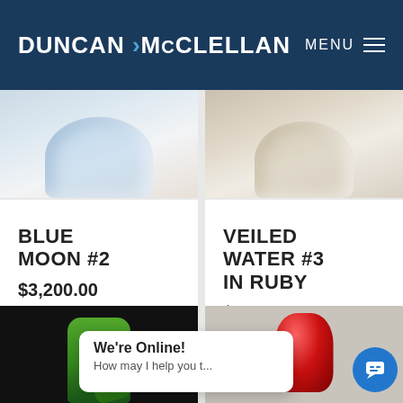DUNCAN McCLELLAN | MENU
[Figure (photo): Close-up detail of clear/blue glass artwork bottom edge on white surface]
[Figure (photo): Close-up detail of clear/amber glass artwork bottom edge on white surface]
BLUE MOON #2
$3,200.00
Make Inquiry
VEILED WATER #3 IN RUBY
$3,200.00
Make Inquiry
[Figure (photo): Green glass art sculpture on dark background]
[Figure (photo): Red/ruby glass vase on gray background]
We're Online! How may I help you t...